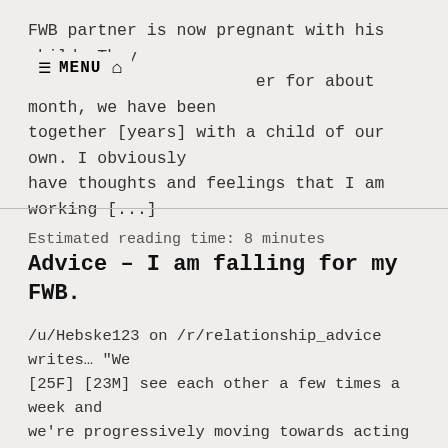FWB partner is now pregnant with his child. They b[...] er for about month, we have been together [years] with a child of our own. I obviously have thoughts and feelings that I am working [...]
Estimated reading time: 8 minutes
Advice – I am falling for my FWB.
/u/Hebske123 on /r/relationship_advice writes… "We [25F] [23M] see each other a few times a week and we're progressively moving towards acting like we're together. We have AMAZING sex and really good communication but I'm worried about bringing up feelings because I genuinely enjoy our friendship without sex. I want to [...]
Estimated reading time: 4 minutes